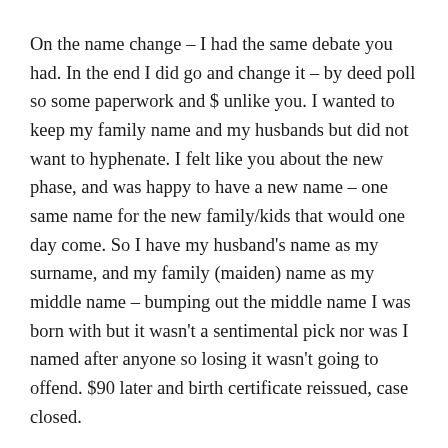On the name change – I had the same debate you had. In the end I did go and change it – by deed poll so some paperwork and $ unlike you. I wanted to keep my family name and my husbands but did not want to hyphenate. I felt like you about the new phase, and was happy to have a new name – one same name for the new family/kids that would one day come. So I have my husband's name as my surname, and my family (maiden) name as my middle name – bumping out the middle name I was born with but it wasn't a sentimental pick nor was I named after anyone so losing it wasn't going to offend. $90 later and birth certificate reissued, case closed.